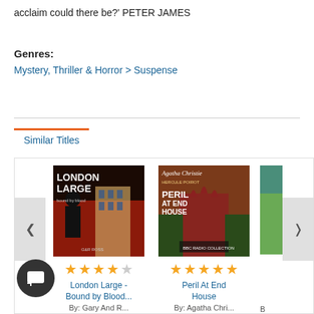acclaim could there be?' PETER JAMES
Genres:
Mystery, Thriller & Horror > Suspense
Similar Titles
[Figure (screenshot): Book cover for London Large - Bound by Blood by Gary And R...]
[Figure (screenshot): Book cover for Peril At End House by Agatha Chri...]
London Large - Bound by Blood...
By: Gary And R...
Peril At End House
By: Agatha Chri...